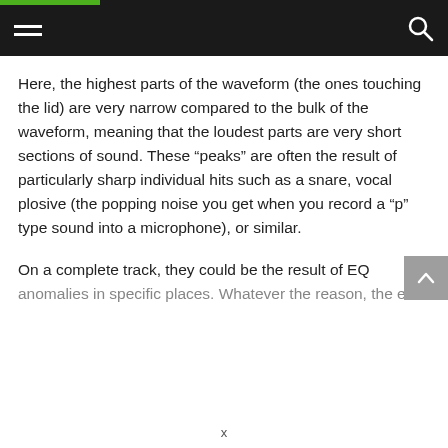Here, the highest parts of the waveform (the ones touching the lid) are very narrow compared to the bulk of the waveform, meaning that the loudest parts are very short sections of sound. These “peaks” are often the result of particularly sharp individual hits such as a snare, vocal plosive (the popping noise you get when you record a “p” type sound into a microphone), or similar.
On a complete track, they could be the result of EQ anomalies in specific places. Whatever the reason, the end
x